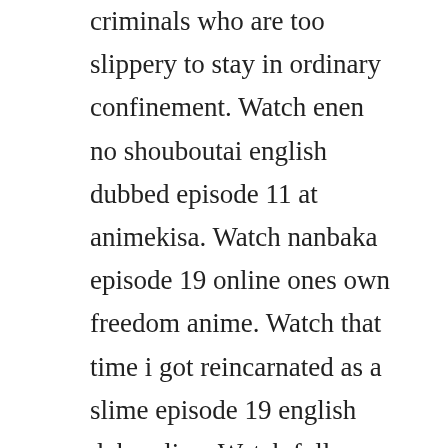criminals who are too slippery to stay in ordinary confinement. Watch enen no shouboutai english dubbed episode 11 at animekisa. Watch nanbaka episode 19 online ones own freedom anime. Watch that time i got reincarnated as a slime episode 19 english dub online. Watch full nanbaka season 2 episode 6 english subbed full hd online. Hajime, jyugo, uno, and nico head to building 5 to find out about rock and yamato.
Absolute demonic front babylonia episode 15 english dubbed. He has provided voices for english language versions of japanese anime...